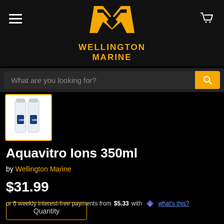[Figure (logo): Wellington Marine logo — gold W with chevron design above text WELLINGTON MARINE in gold uppercase letters]
What are you looking for?
[Figure (photo): Thumbnail of two Aquavitro Ions 350ml product bottles on white background]
Aquavitro Ions 350ml
by Wellington Marine
$31.99
or 6 weekly interest-free payments from $5.33 with  what's this?
Quantity